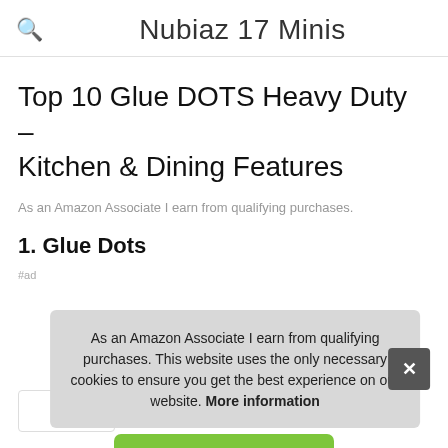Nubiaz 17 Minis
Top 10 Glue DOTS Heavy Duty – Kitchen & Dining Features
As an Amazon Associate I earn from qualifying purchases.
1. Glue Dots
#ad
As an Amazon Associate I earn from qualifying purchases. This website uses the only necessary cookies to ensure you get the best experience on our website. More information